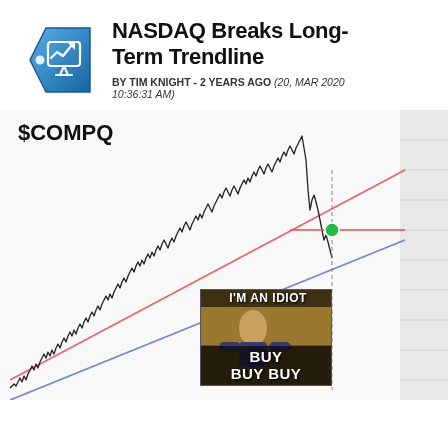NASDAQ Breaks Long-Term Trendline
BY TIM KNIGHT - 2 YEARS AGO (20, MAR 2020 10:36:31 AM)
[Figure (continuous-plot): Long-term $COMPQ (NASDAQ Composite) price chart showing an ascending channel with two trendlines (red upper, blue lower). The price broke above the upper red trendline and then fell sharply back below it. A green dot marks the current price near the trendline. A meme image in the lower right reads 'I'M AN IDIOT BUY BUY BUY'.]